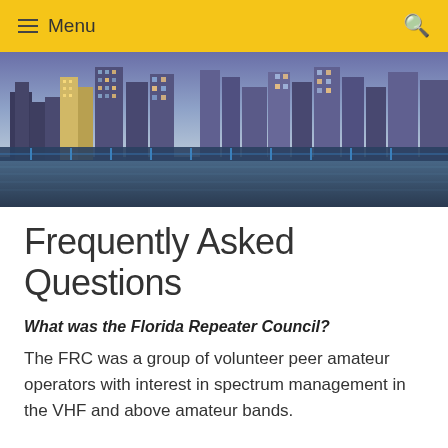≡ Menu  🔍
[Figure (photo): City skyline at dusk/night, Miami cityscape reflected in water with illuminated skyscrapers and a bridge in the foreground]
Frequently Asked Questions
What was the Florida Repeater Council?
The FRC was a group of volunteer peer amateur operators with interest in spectrum management in the VHF and above amateur bands.